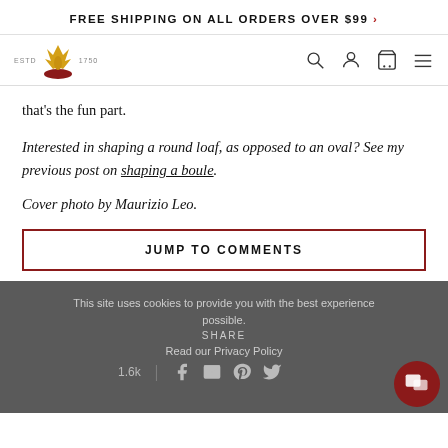FREE SHIPPING ON ALL ORDERS OVER $99 >
[Figure (logo): Crown/wheat logo with ESTD 1750 text]
that's the fun part.
Interested in shaping a round loaf, as opposed to an oval? See my previous post on shaping a boule.
Cover photo by Maurizio Leo.
JUMP TO COMMENTS
This site uses cookies to provide you with the best experience possible. Read our Privacy Policy | SHARE 1.6k